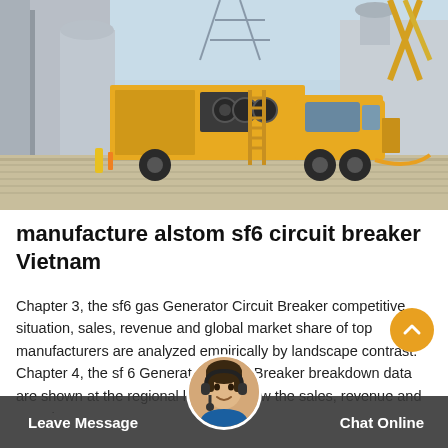[Figure (photo): A yellow utility/service truck parked at an electrical substation with large gray transformer/circuit breaker equipment and steel lattice towers in the background. The truck has an extended work platform and ladder.]
manufacture alstom sf6 circuit breaker Vietnam
Chapter 3, the sf6 gas Generator Circuit Breaker competitive situation, sales, revenue and global market share of top manufacturers are analyzed empirically by landscape contrast. Chapter 4, the sf 6 Generator Circuit Breaker breakdown data are shown at the regional level, to show the sales, revenue and growth